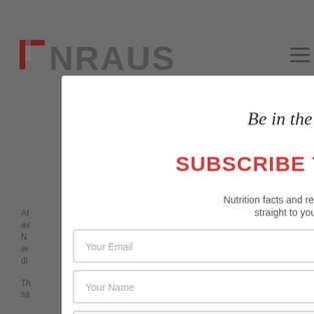[Figure (screenshot): NRAUS website screenshot with a subscription modal popup overlay. The modal contains italic title 'Be in the know', red heading 'SUBSCRIBE TO NRAUS', subtitle 'Nutrition facts and research insights straight to your inbox!', input fields for email and name, and a dropdown for healthcare professional status. A close button (X) appears in the top-right corner of the modal. Food/fruit images appear on the right side.]
Be in the know
SUBSCRIBE TO NRAUS
Nutrition facts and research insights straight to your inbox!
Your Email
Your Name
Are You A Healthcare Professional?